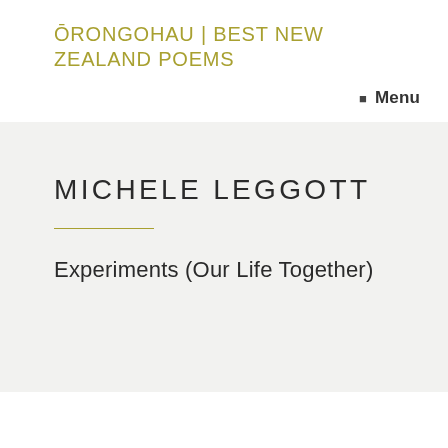ŌRONGOHAU | BEST NEW ZEALAND POEMS
Menu
MICHELE LEGGOTT
Experiments (Our Life Together)